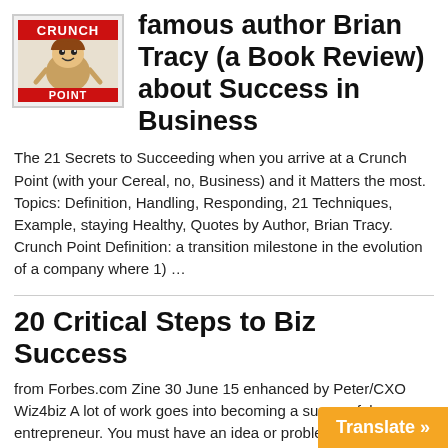[Figure (illustration): Book cover image for Crunch Point by Brian Tracy, showing a comic-style character]
famous author Brian Tracy (a Book Review) about Success in Business
The 21 Secrets to Succeeding when you arrive at a Crunch Point (with your Cereal, no, Business) and it Matters the most. Topics: Definition, Handling, Responding, 21 Techniques, Example, staying Healthy, Quotes by Author, Brian Tracy. Crunch Point Definition: a transition milestone in the evolution of a company where 1) …
20 Critical Steps to Biz Success
from Forbes.com Zine 30 June 15 enhanced by Peter/CXO Wiz4biz A lot of work goes into becoming a successful entrepreneur. You must have an idea or problem that you want to address, a market that you intend to sale your product to, & have t…